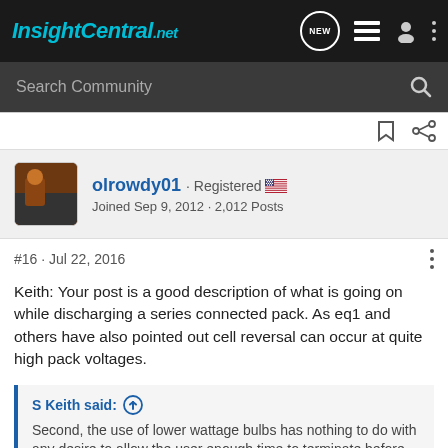InsightCentral.net
Search Community
olrowdy01 · Registered
Joined Sep 9, 2012 · 2,012 Posts
#16 · Jul 22, 2016
Keith: Your post is a good description of what is going on while discharging a series connected pack. As eq1 and others have also pointed out cell reversal can occur at quite high pack voltages.
S Keith said:
Second, the use of lower wattage bulbs has nothing to do with any desire to allow the user enough time to terminate before getting to